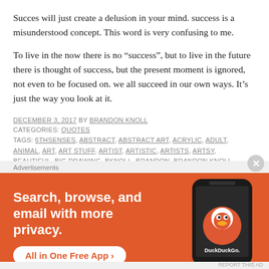Succes will just create a delusion in your mind. success is a misunderstood concept. This word is very confusing to me.
To live in the now there is no “success”, but to live in the future there is thought of success, but the present moment is ignored, not even to be focused on. we all succeed in our own ways. It’s just the way you look at it.
DECEMBER 3, 2017 BY BRANDON KNOLL
CATEGORIES: QUOTES
TAGS: 6THSENSES, ABSTRACT, ABSTRACT ART, ACRYLIC, ADULT, ANIMAL, ART, ART STUFF, ARTIST, ARTISTIC, ARTISTS, ARTSY, BEAUTIFUL, BIG DRAWING, BKNOLL, BRANDON, BRANDON KNOLL, BRANDONKNOLL, CANVAS, CHANGE, CHEMICAL REACTION, CHILL…
Advertisements
[Figure (infographic): DuckDuckGo advertisement banner on orange background. Text reads: Search, browse, and email with more privacy. All in One Free App. Shows a smartphone with the DuckDuckGo duck logo and app name.]